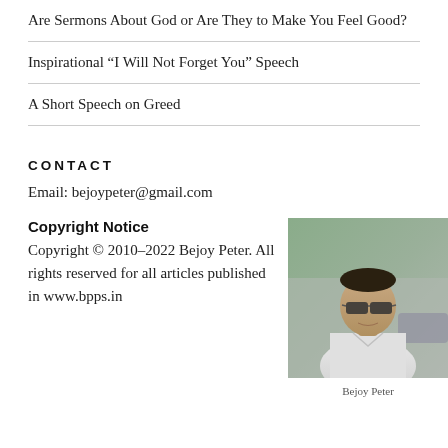Are Sermons About God or Are They to Make You Feel Good?
Inspirational “I Will Not Forget You” Speech
A Short Speech on Greed
CONTACT
Email: bejoypeter@gmail.com
Copyright Notice
Copyright © 2010–2022 Bejoy Peter. All rights reserved for all articles published in www.bpps.in
[Figure (photo): Portrait photo of Bejoy Peter, a man wearing sunglasses and a white shirt, standing outdoors]
Bejoy Peter